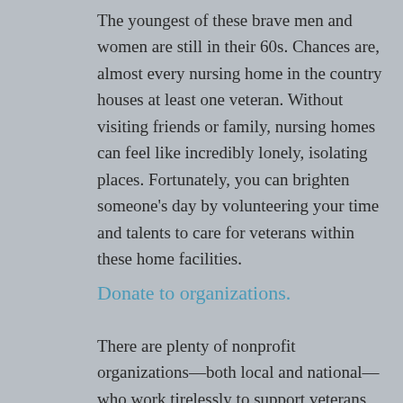The youngest of these brave men and women are still in their 60s. Chances are, almost every nursing home in the country houses at least one veteran. Without visiting friends or family, nursing homes can feel like incredibly lonely, isolating places. Fortunately, you can brighten someone's day by volunteering your time and talents to care for veterans within these home facilities.
Donate to organizations.
There are plenty of nonprofit organizations—both local and national—who work tirelessly to support veterans near you. These charities help